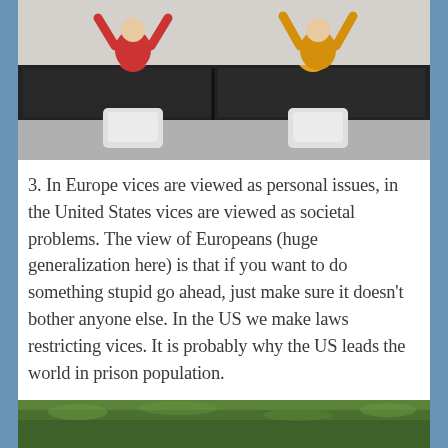[Figure (photo): Photo of a bathroom with dark cabinetry and urinals. Two figures with raised arms visible above the cabinet — one in red, one in yellow/orange shirt.]
3. In Europe vices are viewed as personal issues, in the United States vices are viewed as societal problems. The view of Europeans (huge generalization here) is that if you want to do something stupid go ahead, just make sure it doesn't bother anyone else. In the US we make laws restricting vices. It is probably why the US leads the world in prison population.
[Figure (photo): Partial photo showing a grassy lawn area, cropped at bottom of page.]